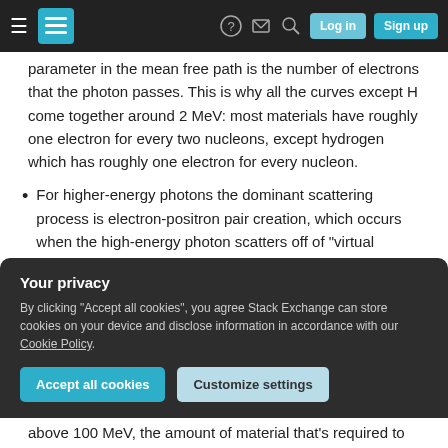Navigation bar with hamburger menu, Stack Exchange logo, help, inbox, search icons, Log in and Sign up buttons
parameter in the mean free path is the number of electrons that the photon passes. This is why all the curves except H come together around 2 MeV: most materials have roughly one electron for every two nucleons, except hydrogen which has roughly one electron for every nucleon.
For higher-energy photons the dominant scattering process is electron-positron pair creation, which occurs when the high-energy photon scatters off of "virtual photons" in the electric field between the atomic electrons and their nucleus. The internal
Your privacy
By clicking "Accept all cookies", you agree Stack Exchange can store cookies on your device and disclose information in accordance with our Cookie Policy.
above 100 MeV, the amount of material that's required to